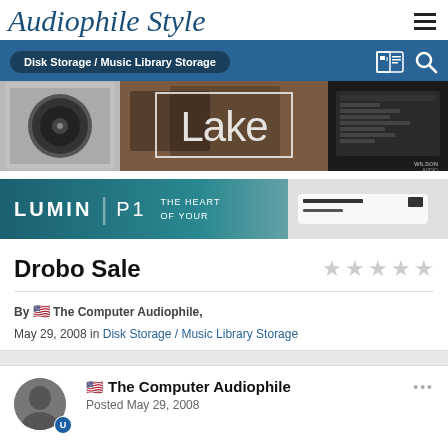Audiophile Style
Disk Storage / Music Library Storage
[Figure (photo): Banner collage of audio equipment: subwoofer speaker on left, 'Lake' branded audio equipment in center, amplifier panel on right with Wilson Audio logo]
[Figure (photo): LUMIN P1 advertisement banner: 'LUMIN P1 THE HEART OF YOUR' on teal background with device image]
Drobo Sale
By The Computer Audiophile, May 29, 2008 in Disk Storage / Music Library Storage
The Computer Audiophile
Posted May 29, 2008